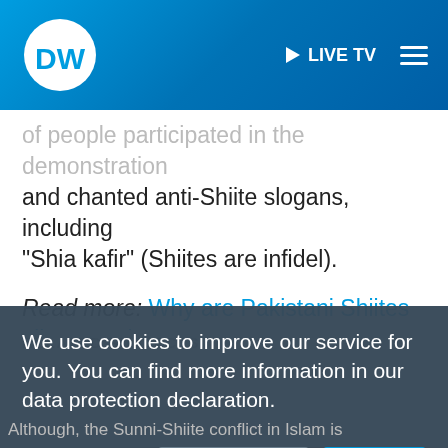DW | LIVE TV
of people participated in the demonstration and chanted anti-Shiite slogans, including "Shia kafir" (Shiites are infidel).
Read more: Why are Pakistani Shiites 'disappearing'?
RELATED SUBJECTS
We use cookies to improve our service for you. You can find more information in our data protection declaration.
Although, the Sunni-Shiite conflict in Islam is